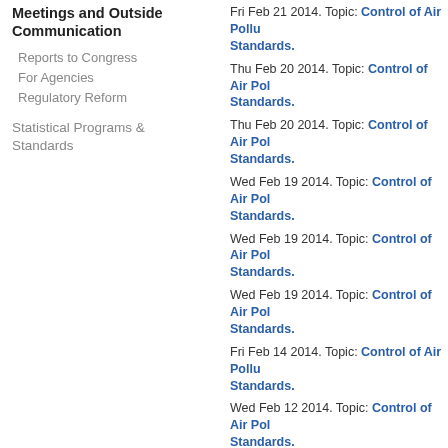Meetings and Outside Communication
Reports to Congress
For Agencies
Regulatory Reform
Statistical Programs & Standards
Fri Feb 21 2014.  Topic: Control of Air Pollution from New Motor Vehicles: Tier 3 Motor Vehicle Emission and Fuel Standards.
Thu Feb 20 2014.  Topic: Control of Air Pollution from New Motor Vehicles: Tier 3 Motor Vehicle Emission and Fuel Standards.
Thu Feb 20 2014.  Topic: Control of Air Pollution from New Motor Vehicles: Tier 3 Motor Vehicle Emission and Fuel Standards.
Wed Feb 19 2014.  Topic: Control of Air Pollution from New Motor Vehicles: Tier 3 Motor Vehicle Emission and Fuel Standards.
Wed Feb 19 2014.  Topic: Control of Air Pollution from New Motor Vehicles: Tier 3 Motor Vehicle Emission and Fuel Standards.
Wed Feb 19 2014.  Topic: Control of Air Pollution from New Motor Vehicles: Tier 3 Motor Vehicle Emission and Fuel Standards.
Fri Feb 14 2014.  Topic: Control of Air Pollution from New Motor Vehicles: Tier 3 Motor Vehicle Emission and Fuel Standards.
Wed Feb 12 2014.  Topic: Control of Air Pollution from New Motor Vehicles: Tier 3 Motor Vehicle Emission and Fuel Standards.
Mon Jan 3 2014.  Topic: Control of Air Pollution from New Motor Vehicles: Tier 3 Motor Vehicle Emission and Fuel Standards.
Fri Dec 6 2013.  Topic: Standards of Performance for New Residential Wood Heaters and Forced-Air Furnaces, and New Residential Hydronic Heaters and Forced-Air Furnaces.
Tue Dec 3 2013.  Topic: Standards of Performance for New Residential Wood Heaters and Forced-Air Furnaces, and New Residential Hydronic Heaters and Forced-Air Furnaces.
Wed Nov 20 2013.  Topic: Protection of S...